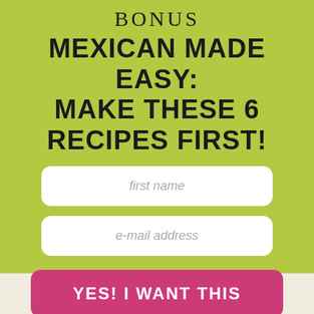BONUS
MEXICAN MADE EASY: MAKE THESE 6 RECIPES FIRST!
first name
e-mail address
YES! I WANT THIS